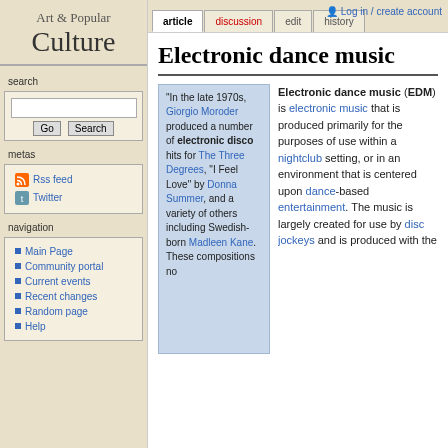Log in / create account
article | discussion | edit | history
Art & Popular Culture
search
metas
Rss feed
Twitter
navigation
Main Page
Community portal
Current events
Recent changes
Random page
Help
Electronic dance music
"In the late 1970s, Giorgio Moroder produced a number of electronic disco hits for The Three Degrees, "I Feel Love" by Donna Summer, and a variety of others including Swedish-born Madleen Kane. These compositions no
Electronic dance music (EDM) is electronic music that is produced primarily for the purposes of use within a nightclub setting, or in an environment that is centered upon dance-based entertainment. The music is largely created for use by disc jockeys and is produced with the